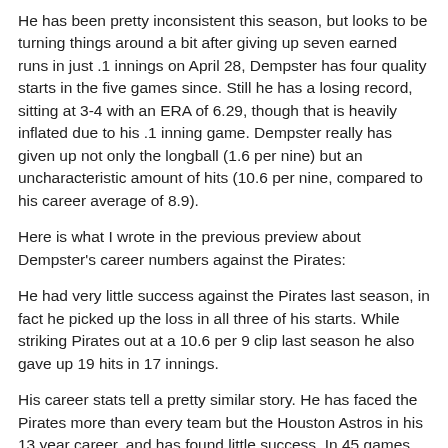He has been pretty inconsistent this season, but looks to be turning things around a bit after giving up seven earned runs in just .1 innings on April 28, Dempster has four quality starts in the five games since. Still he has a losing record, sitting at 3-4 with an ERA of 6.29, though that is heavily inflated due to his .1 inning game. Dempster really has given up not only the longball (1.6 per nine) but an uncharacteristic amount of hits (10.6 per nine, compared to his career average of 8.9).
Here is what I wrote in the previous preview about Dempster's career numbers against the Pirates:
He had very little success against the Pirates last season, in fact he picked up the loss in all three of his starts. While striking Pirates out at a 10.6 per 9 clip last season he also gave up 19 hits in 17 innings.
His career stats tell a pretty similar story. He has faced the Pirates more than every team but the Houston Astros in his 13 year career, and has found little success. In 45 games (20 starts) he has a 5.63 ERA. No team has scored more runs, or interesting been hit by more pitches, against Dempster over the course of his career than the Pirates.